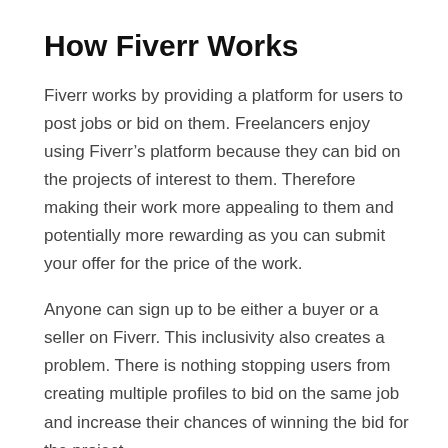How Fiverr Works
Fiverr works by providing a platform for users to post jobs or bid on them. Freelancers enjoy using Fiverr’s platform because they can bid on the projects of interest to them. Therefore making their work more appealing to them and potentially more rewarding as you can submit your offer for the price of the work.
Anyone can sign up to be either a buyer or a seller on Fiverr. This inclusivity also creates a problem. There is nothing stopping users from creating multiple profiles to bid on the same job and increase their chances of winning the bid for the project.